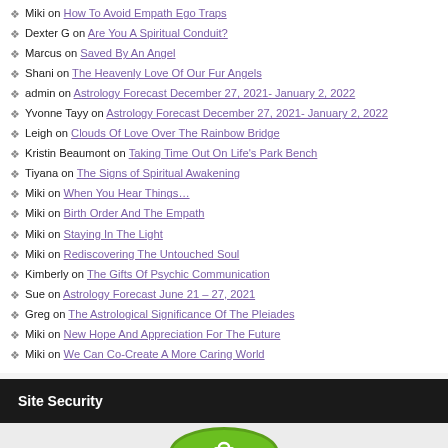Miki on How To Avoid Empath Ego Traps
Dexter G on Are You A Spiritual Conduit?
Marcus on Saved By An Angel
Shani on The Heavenly Love Of Our Fur Angels
admin on Astrology Forecast December 27, 2021- January 2, 2022
Yvonne Tayy on Astrology Forecast December 27, 2021- January 2, 2022
Leigh on Clouds Of Love Over The Rainbow Bridge
Kristin Beaumont on Taking Time Out On Life's Park Bench
Tiyana on The Signs of Spiritual Awakening
Miki on When You Hear Things…
Miki on Birth Order And The Empath
Miki on Staying In The Light
Miki on Rediscovering The Untouched Soul
Kimberly on The Gifts Of Psychic Communication
Sue on Astrology Forecast June 21 – 27, 2021
Greg on The Astrological Significance Of The Pleiades
Miki on New Hope And Appreciation For The Future
Miki on We Can Co-Create A More Caring World
Site Security
[Figure (logo): SSL site security badge logo]